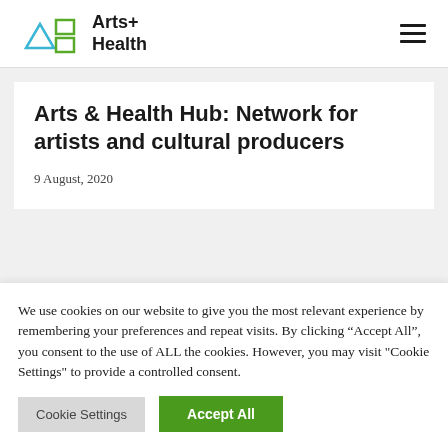Arts+ Health
Arts & Health Hub: Network for artists and cultural producers
9 August, 2020
We use cookies on our website to give you the most relevant experience by remembering your preferences and repeat visits. By clicking "Accept All", you consent to the use of ALL the cookies. However, you may visit "Cookie Settings" to provide a controlled consent.